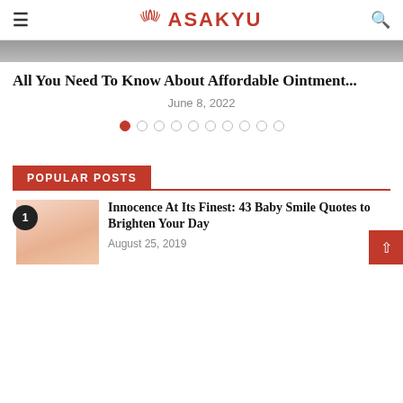ASAKYU
[Figure (photo): Partial slider image at top, cropped]
All You Need To Know About Affordable Ointment...
June 8, 2022
[Figure (infographic): Dot navigation with 10 dots, first dot filled red]
POPULAR POSTS
[Figure (photo): Baby smiling photo thumbnail with number 1 badge]
Innocence At Its Finest: 43 Baby Smile Quotes to Brighten Your Day
August 25, 2019